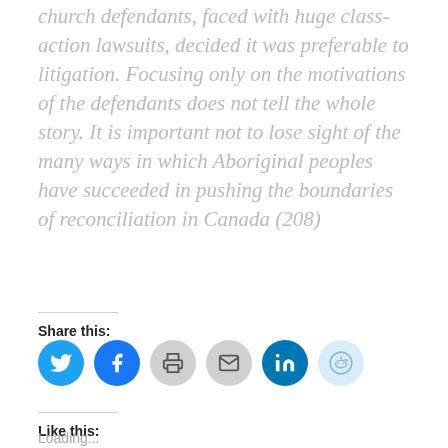church defendants, faced with huge class-action lawsuits, decided it was preferable to litigation. Focusing only on the motivations of the defendants does not tell the whole story. It is important not to lose sight of the many ways in which Aboriginal peoples have succeeded in pushing the boundaries of reconciliation in Canada (208)
Share this:
[Figure (other): Social share icons: Twitter (blue circle), Facebook (blue circle), Print (gray circle), Email (gray circle), LinkedIn (dark blue circle), Reddit (light blue circle)]
Like this:
Loading...